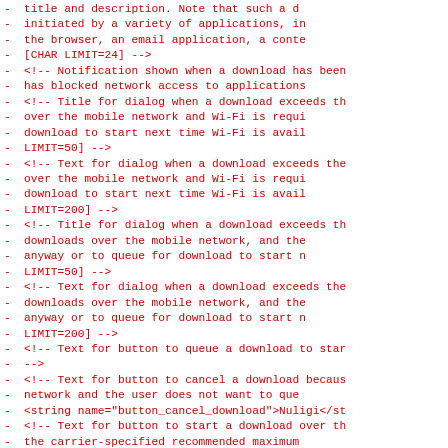- title and description. Note that such a d
- initiated by a variety of applications, in
- the browser, an email application, a conte
- [CHAR LIMIT=24] -->
- <!-- Notification shown when a download has been
- has blocked network access to applications
- <!-- Title for dialog when a download exceeds th
- over the mobile network and Wi-Fi is requi
- download to start next time Wi-Fi is avail
- LIMIT=50] -->
- <!-- Text for dialog when a download exceeds the
- over the mobile network and Wi-Fi is requi
- download to start next time Wi-Fi is avail
- LIMIT=200] -->
- <!-- Title for dialog when a download exceeds th
- downloads over the mobile network, and the
- anyway or to queue for download to start n
- LIMIT=50] -->
- <!-- Text for dialog when a download exceeds the
- downloads over the mobile network, and the
- anyway or to queue for download to start n
- LIMIT=200] -->
- <!-- Text for button to queue a download to star
- -->
- <!-- Text for button to cancel a download becaus
- network and the user does not want to que
- <string name="button_cancel_download">Nuligi</st
- <!-- Text for button to start a download over th
- the carrier-specified recommended maximum
- [CHAR LIMIT=25] -->